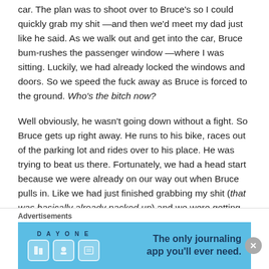car. The plan was to shoot over to Bruce's so I could quickly grab my shit —and then we'd meet my dad just like he said. As we walk out and get into the car, Bruce bum-rushes the passenger window —where I was sitting. Luckily, we had already locked the windows and doors. So we speed the fuck away as Bruce is forced to the ground. Who's the bitch now?
Well obviously, he wasn't going down without a fight. So Bruce gets up right away. He runs to his bike, races out of the parking lot and rides over to his place. He was trying to beat us there. Fortunately, we had a head start because we were already on our way out when Bruce pulls in. Like we had just finished grabbing my shit (that was basically already packed up) and we were getting back into Liam's car. Well, that's when we see Bruce. He puts his bike in park and then
Advertisements
[Figure (illustration): DayOne app advertisement banner with blue background, app icons, and text 'The only journaling app you'll ever need.']